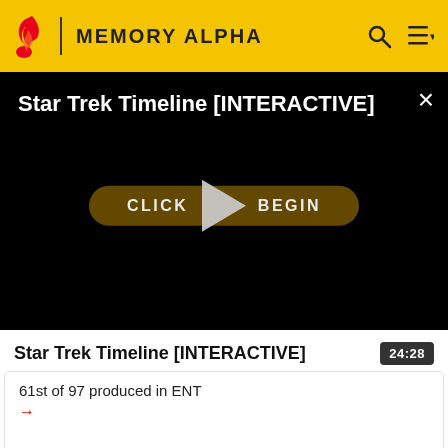MEMORY ALPHA
[Figure (screenshot): Video player showing 'Star Trek Timeline [INTERACTIVE]' with a black background, a dark gold 'CLICK TO BEGIN' button, a play triangle overlay, and a close (×) button in the top right corner.]
Star Trek Timeline [INTERACTIVE]
24:28
61st of 97 produced in ENT
→
←
41st of 97 produced in ENT